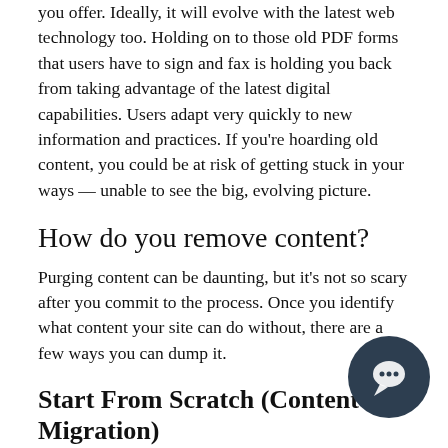you offer. Ideally, it will evolve with the latest web technology too. Holding on to those old PDF forms that users have to sign and fax is holding you back from taking advantage of the latest digital capabilities. Users adapt very quickly to new information and practices. If you're hoarding old content, you could be at risk of getting stuck in your ways — unable to see the big, evolving picture.
How do you remove content?
Purging content can be daunting, but it's not so scary after you commit to the process. Once you identify what content your site can do without, there are a few ways you can dump it.
Start From Scratch (Content Migration)
If you are about to begin a content migration, lucky you! This is a perfect opportunity to do a complete content overhaul because you only need to migrate the content that matters most. Go over the content inventory provided by your project manager. The content strategist may have already made some